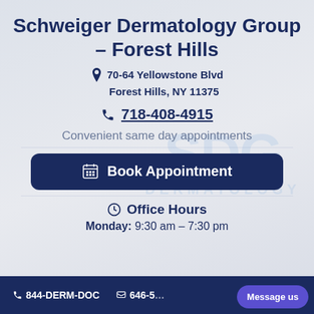Schweiger Dermatology Group – Forest Hills
70-64 Yellowstone Blvd
Forest Hills, NY 11375
718-408-4915
Convenient same day appointments
Book Appointment
Office Hours
Monday: 9:30 am – 7:30 pm
844-DERM-DOC   646-5[truncated]   Message us